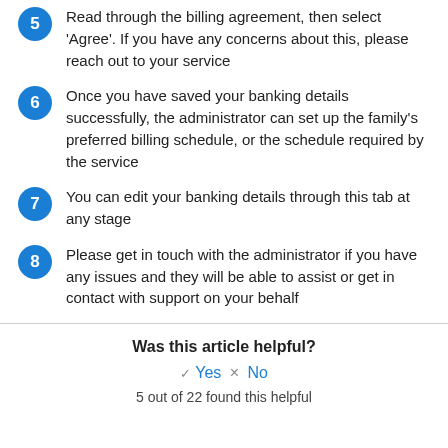5 Read through the billing agreement, then select 'Agree'. If you have any concerns about this, please reach out to your service
6 Once you have saved your banking details successfully, the administrator can set up the family's preferred billing schedule, or the schedule required by the service
7 You can edit your banking details through this tab at any stage
8 Please get in touch with the administrator if you have any issues and they will be able to assist or get in contact with support on your behalf
Was this article helpful?
Yes × No
5 out of 22 found this helpful